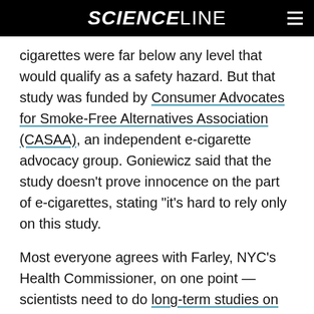SCIENCELINE
cigarettes were far below any level that would qualify as a safety hazard. But that study was funded by Consumer Advocates for Smoke-Free Alternatives Association (CASAA), an independent e-cigarette advocacy group. Goniewicz said that the study doesn't prove innocence on the part of e-cigarettes, stating “it’s hard to rely only on this study.
Most everyone agrees with Farley, NYC’s Health Commissioner, on one point — scientists need to do long-term studies on whether trace amounts of carcinogens and other toxic chemicals in e-cigarette vapor are harmful to users. Most will also